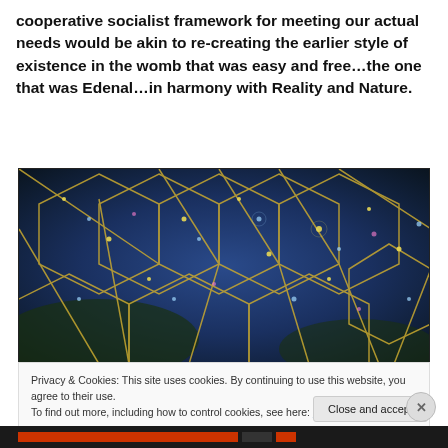cooperative socialist framework for meeting our actual needs would be akin to re-creating the earlier style of existence in the womb that was easy and free…the one that was Edenal…in harmony with Reality and Nature.
[Figure (photo): A geodesic dome structure with hexagonal glass panels illuminated in blue and gold tones, with sparkling light effects creating a futuristic, organic appearance reminiscent of a biome or eden project structure.]
Privacy & Cookies: This site uses cookies. By continuing to use this website, you agree to their use.
To find out more, including how to control cookies, see here: Cookie Policy
Close and accept